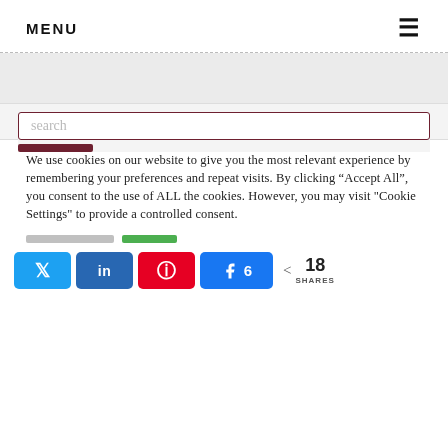MENU
[Figure (screenshot): Gray shaded ad/banner placeholder zone at top of content area]
[Figure (screenshot): Search bar with dark red border and placeholder text 'search', with dark red button below]
We use cookies on our website to give you the most relevant experience by remembering your preferences and repeat visits. By clicking “Accept All”, you consent to the use of ALL the cookies. However, you may visit "Cookie Settings" to provide a controlled consent.
[Figure (infographic): Social share buttons: Twitter, LinkedIn, Pinterest, Facebook (with count 6), share icon with count 18 SHARES]